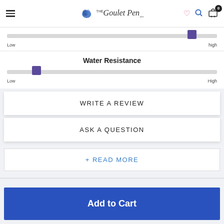[Figure (screenshot): Goulet Pen Co. website header with hamburger menu, logo, heart icon, search icon, and cart with badge showing 0]
[Figure (infographic): Slider bar with thumb near high end, labeled Low on left and high on right]
Water Resistance
[Figure (infographic): Slider bar with thumb near low end, labeled Low on left and High on right]
WRITE A REVIEW
ASK A QUESTION
+ READ MORE
Add to Cart